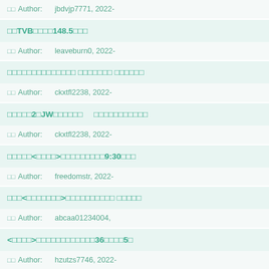Author: jbdvjp7771, 2022-
□□TVB□□□□148.5□□□
Author: leaveburn0, 2022-
□□□□□□□□□□□□□□ □□□□□□□ □□□□□□
Author: ckxtfl2238, 2022-
□□□□□2□JW□□□□□□ □□□□□□□□□□□
Author: ckxtfl2238, 2022-
□□□□□<□□□□>□□□□□□□□□9:30□□□
Author: freedomstr, 2022-
□□□<□□□□□□□>□□□□□□□□□□ □□□□□
Author: abcaa01234004,
<□□□□>□□□□□□□□□□□□36□□□□5□
Author: hzutzs7746, 2022-
□□□□
Author: momokoqqcc, 20